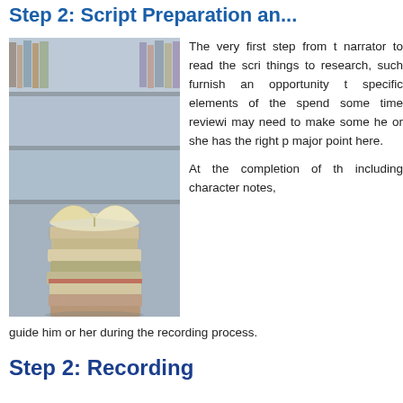Step 1: Script Preparation and...
[Figure (photo): Stack of books with an open book on top, in front of library bookshelves, blurred background]
The very first step from the narrator to read the script... things to research, such... furnish an opportunity to... specific elements of the... spend some time reviewing... may need to make some... he or she has the right p... major point here.

At the completion of th... including character notes,
guide him or her during the recording process.
Step 2: Recording